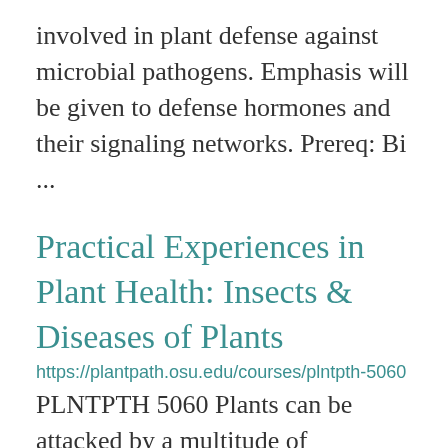involved in plant defense against microbial pathogens. Emphasis will be given to defense hormones and their signaling networks. Prereq: Bi ...
Practical Experiences in Plant Health: Insects & Diseases of Plants
https://plantpath.osu.edu/courses/plntpth-5060
PLNTPTH 5060 Plants can be attacked by a multitude of pathogens and insects. Each plant within a production region has documented pests that can negatively impact plant health. Environment and